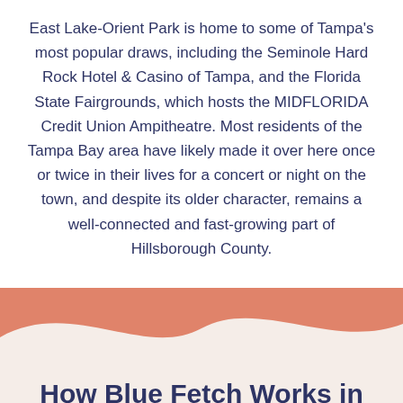East Lake-Orient Park is home to some of Tampa's most popular draws, including the Seminole Hard Rock Hotel & Casino of Tampa, and the Florida State Fairgrounds, which hosts the MIDFLORIDA Credit Union Ampitheatre. Most residents of the Tampa Bay area have likely made it over here once or twice in their lives for a concert or night on the town, and despite its older character, remains a well-connected and fast-growing part of Hillsborough County.
[Figure (illustration): Salmon/terra-cotta colored wave shape transitioning from the top salmon background to the cream/off-white background below]
How Blue Fetch Works in East Lake-Orient Park
Build Your Business